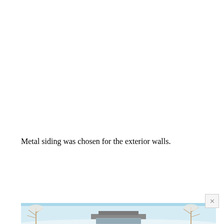Metal siding was chosen for the exterior walls.
[Figure (photo): Partial view of a winter outdoor scene showing snow-covered trees and a building with metal siding, at the bottom of the page.]